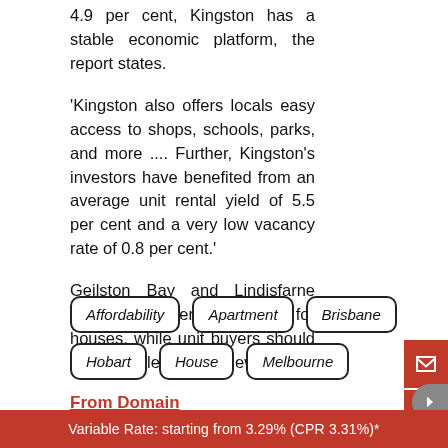4.9 per cent, Kingston has a stable economic platform, the report states.
'Kingston also offers locals easy access to shops, schools, parks, and more .... Further, Kingston's investors have benefited from an average unit rental yield of 5.5 per cent and a very low vacancy rate of 0.8 per cent.'
Geilston Bay and Lindisfarne were the other top picks for houses, while unit buyers should look to Bellerive and New Town.
From Domain
Affordability
Apartment
Brisbane
Hobart
House
Melbourne
Variable Rate: starting from 3.29% (CPR 3.31%)*